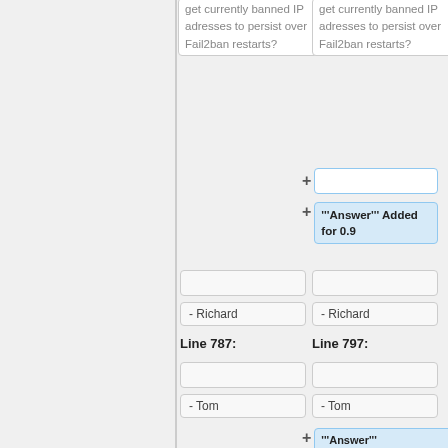get currently banned IP adresses to persist over Fail2ban restarts?
get currently banned IP adresses to persist over Fail2ban restarts?
+ (empty input box)
+ "'Answer'" Added for 0.9
(empty box)
- Richard
(empty box)
- Richard
Line 787:
Line 797:
(empty box)
- Tom
(empty box)
- Tom
+ "'Answer'" [https://github.com/fail2ban/fail2ban/pull/557 apache-botsearch in 0.9+] Thanks for the variations.